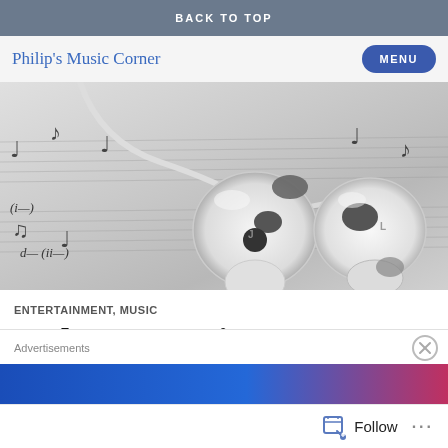BACK TO TOP
Philip's Music Corner
[Figure (photo): White Apple EarPods earbuds resting on sheet music with musical notation, black and white photo]
ENTERTAINMENT, MUSIC
Luke Hemmings:
Advertisements
Follow ···